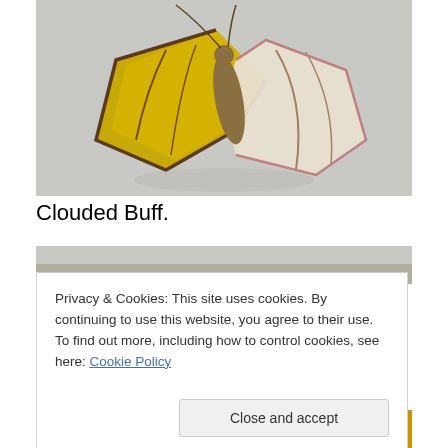[Figure (photo): Close-up photograph of a Clouded Buff moth with yellow and cream/white wings, resting on a light grey background. The moth's wings show distinctive brown-edged markings.]
Clouded Buff.
[Figure (photo): Partial view of another moth photograph, mostly obscured by the cookie consent banner. Shows yellow/golden coloring similar to the Clouded Buff.]
Privacy & Cookies: This site uses cookies. By continuing to use this website, you agree to their use.
To find out more, including how to control cookies, see here: Cookie Policy
[Figure (photo): Bottom strip showing a partial view of another moth photograph with yellow/golden coloring.]